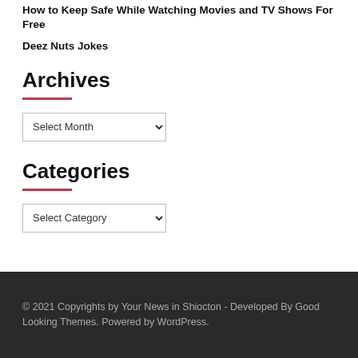How to Keep Safe While Watching Movies and TV Shows For Free
Deez Nuts Jokes
Archives
Select Month (dropdown)
Categories
Select Category (dropdown)
© 2021 Copyrights by Your News in Shiocton - Developed By Good Looking Themes. Powered by WordPress.